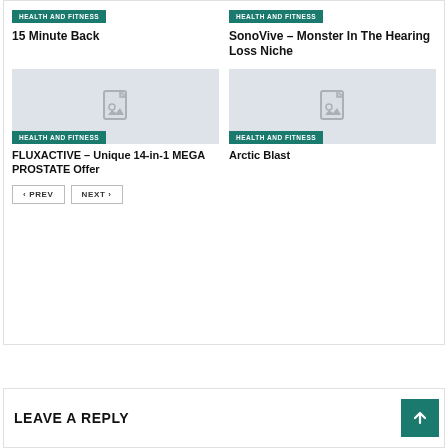HEALTH AND FITNESS
15 Minute Back
HEALTH AND FITNESS
SonoVive – Monster In The Hearing Loss Niche
[Figure (illustration): Placeholder image with document and photo icon, light grey background, HEALTH AND FITNESS badge overlay]
FLUXACTIVE – Unique 14-in-1 MEGA PROSTATE Offer
[Figure (illustration): Placeholder image with document and photo icon, light grey background, HEALTH AND FITNESS badge overlay]
Arctic Blast
PREV  NEXT
LEAVE A REPLY